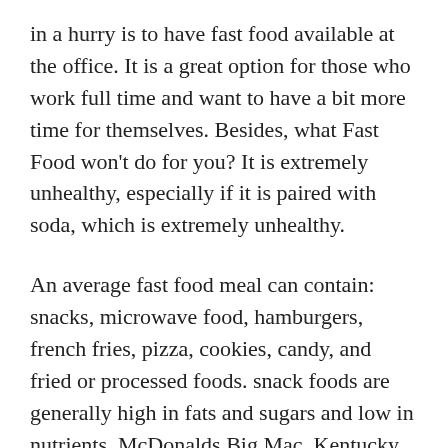in a hurry is to have fast food available at the office. It is a great option for those who work full time and want to have a bit more time for themselves. Besides, what Fast Food won't do for you? It is extremely unhealthy, especially if it is paired with soda, which is extremely unhealthy.
An average fast food meal can contain: snacks, microwave food, hamburgers, french fries, pizza, cookies, candy, and fried or processed foods. snack foods are generally high in fats and sugars and low in nutrients. McDonalds Big Mac, Kentucky Fried Chicken, and establishments like this are great examples of snack foods.